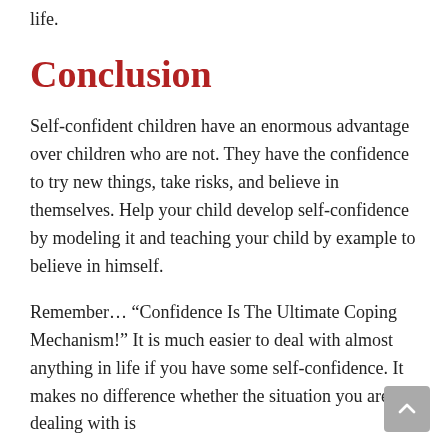life.
Conclusion
Self-confident children have an enormous advantage over children who are not. They have the confidence to try new things, take risks, and believe in themselves. Help your child develop self-confidence by modeling it and teaching your child by example to believe in himself.
Remember… “Confidence Is The Ultimate Coping Mechanism!” It is much easier to deal with almost anything in life if you have some self-confidence. It makes no difference whether the situation you are dealing with is